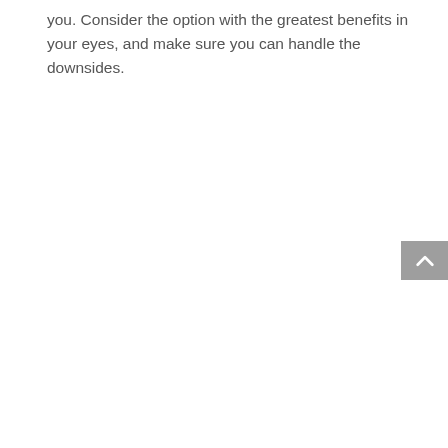you. Consider the option with the greatest benefits in your eyes, and make sure you can handle the downsides.
[Figure (other): Gray scroll-to-top button with upward chevron arrow icon, positioned at the right edge of the page]